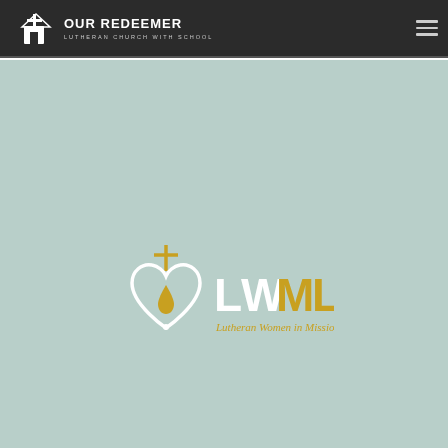[Figure (logo): Our Redeemer Lutheran Church with School logo - white cross with church/school building icon and text on dark background]
[Figure (logo): LWML - Lutheran Women in Mission logo - white heart with cross and teardrop, LWML text in white and gold, tagline Lutheran Women in Mission in gold italic]